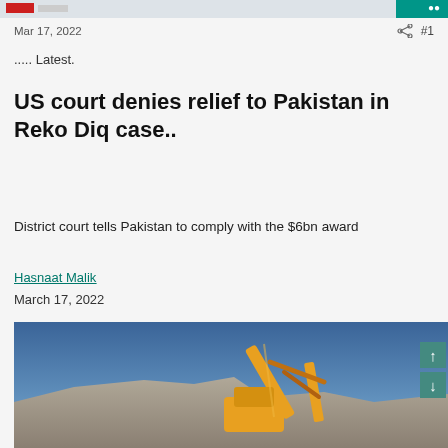Mar 17, 2022  #1
..... Latest.
US court denies relief to Pakistan in Reko Diq case..
District court tells Pakistan to comply with the $6bn award
Hasnaat Malik
March 17, 2022
[Figure (photo): A yellow excavator/construction crane arm against a blue sky with rocky terrain below]